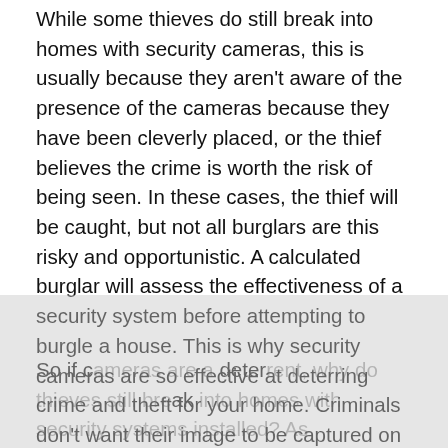While some thieves do still break into homes with security cameras, this is usually because they aren't aware of the presence of the cameras because they have been cleverly placed, or the thief believes the crime is worth the risk of being seen. In these cases, the thief will be caught, but not all burglars are this risky and opportunistic. A calculated burglar will assess the effectiveness of a security system before attempting to burgle a house. This is why security cameras are so effective at deterring crime and theft for your home. Criminals don't want their image to be captured on video or camera because it makes them easily identifiable to the authorities.
So if c... deter... o break into homes with security systems installed? As...
[Figure (other): Cookie consent popup overlay from Matrix Fire & Security Ltd. Contains title 'Matrix Fire & Security Ltd Cookies Policy', body text about website cookie usage, a link to 'Privacy & Cookies Policy', and a close button (×).]